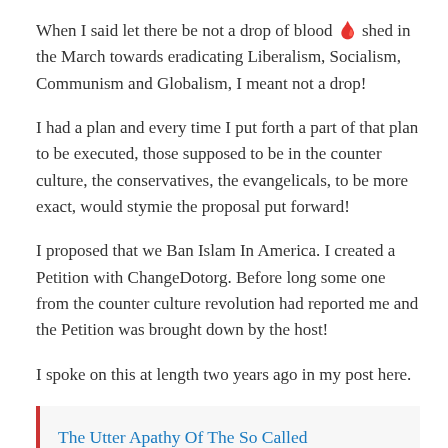When I said let there be not a drop of blood 🩸 shed in the March towards eradicating Liberalism, Socialism, Communism and Globalism, I meant not a drop!
I had a plan and every time I put forth a part of that plan to be executed, those supposed to be in the counter culture, the conservatives, the evangelicals, to be more exact, would stymie the proposal put forward!
I proposed that we Ban Islam In America. I created a Petition with ChangeDotorg. Before long some one from the counter culture revolution had reported me and the Petition was brought down by the host!
I spoke on this at length two years ago in my post here.
The Utter Apathy Of The So Called